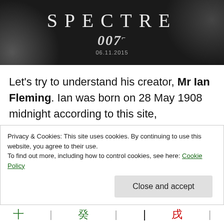[Figure (photo): Movie poster banner for SPECTRE 007, with text 'SPECTRE', '007' and date '06.11.2015' on a dark background with shadowy figures]
Let's try to understand his creator, Mr Ian Fleming. Ian was born on 28 May 1908 midnight according to this site, http://www.astrotheme.com/astrology/Ian_Fleming.
If I translate into a Bazi Chart, the chart below is what we will get.
Privacy & Cookies: This site uses cookies. By continuing to use this website, you agree to their use.
To find out more, including how to control cookies, see here: Cookie Policy
[Close and accept]
[Figure (other): Bottom bar with Chinese characters in green, black, and red colors separated by vertical lines]